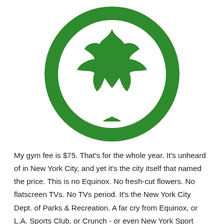[Figure (logo): NYC Parks and Recreation logo: a green circle with a white maple leaf silhouette inside on a white background]
My gym fee is $75. That's for the whole year. It's unheard of in New York City, and yet it's the city itself that named the price. This is no Equinox. No fresh-cut flowers. No flatscreen TVs. No TVs period. It's the New York City Dept. of Parks & Recreation. A far cry from Equinox, or L.A. Sports Club, or Crunch - or even New York Sport Clubs, the Starbucks of gyms. There's not even towel service at Parks & Recreation. But it has what you need: elipticals, treadmills, free weights, exercise machines, plus a few extras: basketball court, tiny